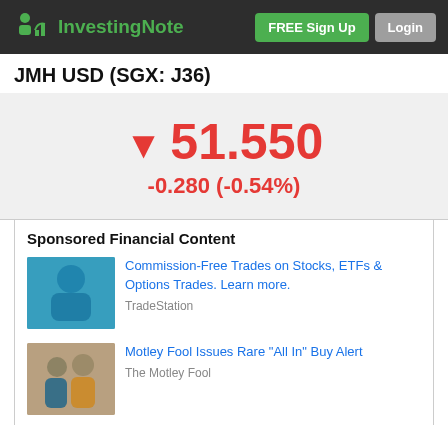InvestingNote | FREE Sign Up | Login
JMH USD (SGX: J36)
▼ 51.550
-0.280 (-0.54%)
Sponsored Financial Content
[Figure (photo): Blue-tinted photo of a person, advertisement thumbnail for TradeStation]
Commission-Free Trades on Stocks, ETFs & Options Trades. Learn more.
TradeStation
[Figure (photo): Photo of two women smiling, advertisement thumbnail for The Motley Fool]
Motley Fool Issues Rare "All In" Buy Alert
The Motley Fool